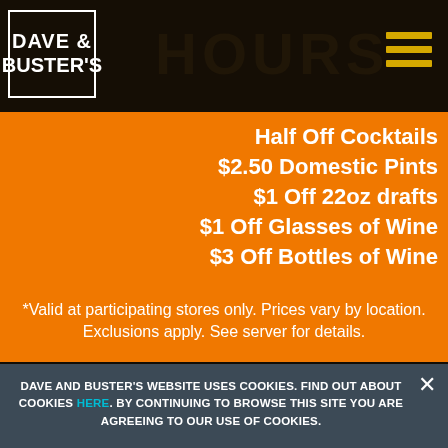[Figure (logo): Dave & Buster's logo in white text on dark background in a bordered box, with 'HOURS' text in dark brown and hamburger menu icon in gold]
Half Off Cocktails
$2.50 Domestic Pints
$1 Off 22oz drafts
$1 Off Glasses of Wine
$3 Off Bottles of Wine
*Valid at participating stores only. Prices vary by location. Exclusions apply. See server for details.
DAVE AND BUSTER'S WEBSITE USES COOKIES. FIND OUT ABOUT COOKIES HERE. BY CONTINUING TO BROWSE THIS SITE YOU ARE AGREEING TO OUR USE OF COOKIES.